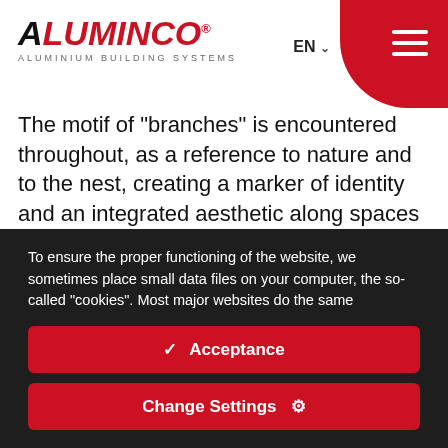ALUMINCO ALUMINIUM BUILDING SYSTEMS
The motif of "branches" is encountered throughout, as a reference to nature and to the nest, creating a marker of identity and an integrated aesthetic along spaces with a different function. Oversize openings enhance the contact with the environment and have a beneficial impact upon the house's interior climate, providing heat during the winter months, and keep out solar radiation during the summer, when the sun is at a higher level, with the aid of
To ensure the proper functioning of the website, we sometimes place small data files on your computer, the so-called "cookies". Most major websites do the same
✓  Acceptance
Change Settings  ⚙